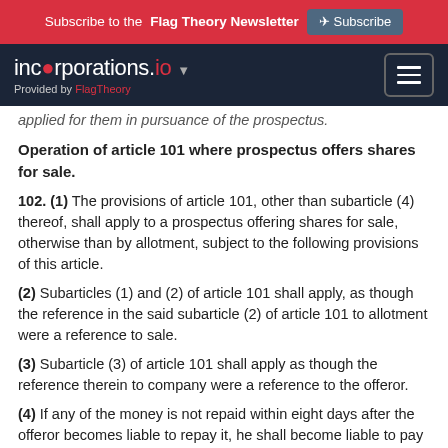Subscribe to the Flag Theory Newsletter  Subscribe
incorporations.io  Provided by FlagTheory
applied for them in pursuance of the prospectus.
Operation of article 101 where prospectus offers shares for sale.
102. (1) The provisions of article 101, other than subarticle (4) thereof, shall apply to a prospectus offering shares for sale, otherwise than by allotment, subject to the following provisions of this article.
(2) Subarticles (1) and (2) of article 101 shall apply, as though the reference in the said subarticle (2) of article 101 to allotment were a reference to sale.
(3) Subarticle (3) of article 101 shall apply as though the reference therein to company were a reference to the offeror.
(4) If any of the money is not repaid within eight days after the offeror becomes liable to repay it, he shall become liable to pay annual interest on the money due, at the rate of two